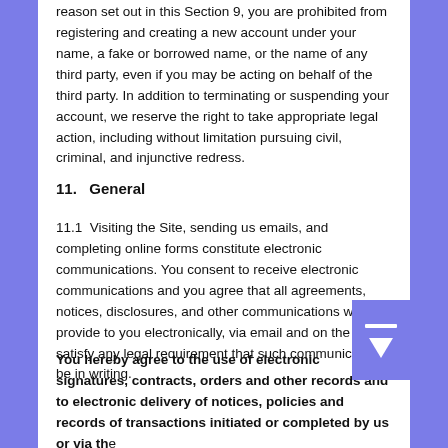reason set out in this Section 9, you are prohibited from registering and creating a new account under your name, a fake or borrowed name, or the name of any third party, even if you may be acting on behalf of the third party. In addition to terminating or suspending your account, we reserve the right to take appropriate legal action, including without limitation pursuing civil, criminal, and injunctive redress.
11.   General
11.1  Visiting the Site, sending us emails, and completing online forms constitute electronic communications. You consent to receive electronic communications and you agree that all agreements, notices, disclosures, and other communications we provide to you electronically, via email and on the Site, satisfy any legal requirement that such communication be in writing.
You hereby agree to the use of electronic signatures, contracts, orders and other records and to electronic delivery of notices, policies and records of transactions initiated or completed by us or via the Site. You hereby waive any rights or requirements under any statutes, regulations, rules, ordinances or other laws in any jurisdiction which require an original signature or